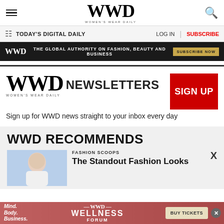WWD WOMEN'S WEAR DAILY
TODAY'S DIGITAL DAILY  LOG IN  SUBSCRIBE
WWD THE GLOBAL AUTHORITY ON FASHION, BEAUTY AND BUSINESS SUBSCRIBE NOW
WWD NEWSLETTERS
Sign up for WWD news straight to your inbox every day
WWD RECOMMENDS
FASHION SCOOPS
The Standout Fashion Looks
[Figure (other): Bottom advertisement banner for WWD Wellness Forum with Mind. Body. Business. text and BUY TICKETS button]